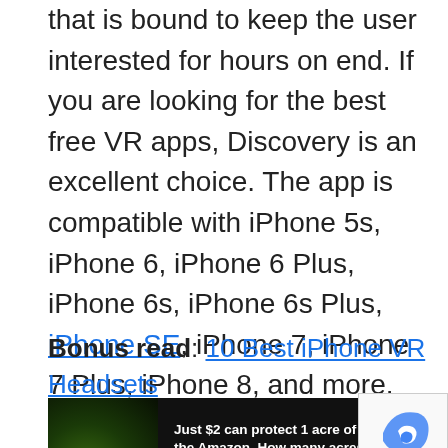that is bound to keep the user interested for hours on end. If you are looking for the best free VR apps, Discovery is an excellent choice. The app is compatible with iPhone 5s, iPhone 6, iPhone 6 Plus, iPhone 6s, iPhone 6s Plus, iPhone SE, iPhone 7, iPhone 7 Plus, iPhone 8, and more.
Bonus read: 10 Best iPhone VR Headsets
[Figure (other): Two overlapping advertisement banners: one for protecting Amazon forest ($2 protects 1 acre), and one for Pure Earth global pollution crisis campaign.]